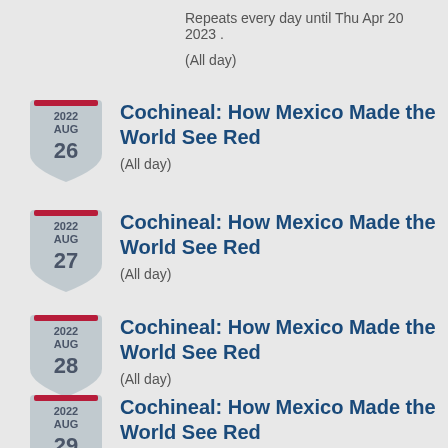Repeats every day until Thu Apr 20 2023 .
(All day)
2022 AUG 26 — Cochineal: How Mexico Made the World See Red
(All day)
2022 AUG 27 — Cochineal: How Mexico Made the World See Red
(All day)
2022 AUG 28 — Cochineal: How Mexico Made the World See Red
(All day)
2022 AUG 29 — Cochineal: How Mexico Made the World See Red